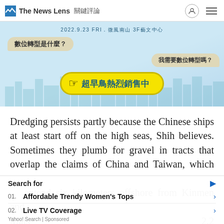The News Lens 關鍵評論
[Figure (illustration): Advertisement image with Chinese text: 2022.9.23 FRI. 微風南山 3F藝文中心. Speech bubbles reading '數位轉型是什麼？' and '我需要數位轉型嗎？' with a yellow CTA button '超早鳥熱烈銷售中' with a hand pointer icon.]
Dredging persists partly because the Chinese ships at least start off on the high seas, Shih believes. Sometimes they plumb for gravel in tracts that overlap the claims of China and Taiwan, which extend six kilometers offshore from Kinmen and Matsu ... 2.2 ... kilor
[Figure (screenshot): Yahoo! Search sponsored ad overlay showing 'Search for' header with play icon, item 01: Affordable Trendy Women's Tops, item 02: Live TV Coverage, and 'Yahoo! Search | Sponsored' footer.]